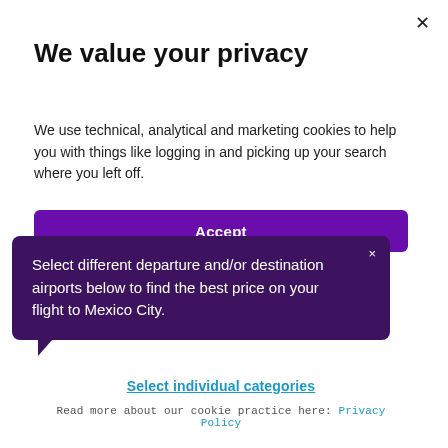We value your privacy
We use technical, analytical and marketing cookies to help you with things like logging in and picking up your search where you left off.
Accept
Select different departure and/or destination airports below to find the best price on your flight to Mexico City.
Select individual categories
Read more about our cookie practice here: Privacy Policy